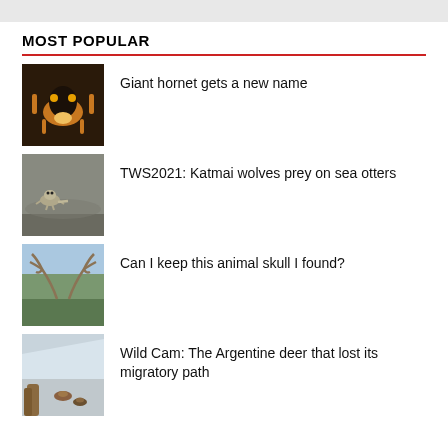MOST POPULAR
Giant hornet gets a new name
TWS2021: Katmai wolves prey on sea otters
Can I keep this animal skull I found?
Wild Cam: The Argentine deer that lost its migratory path